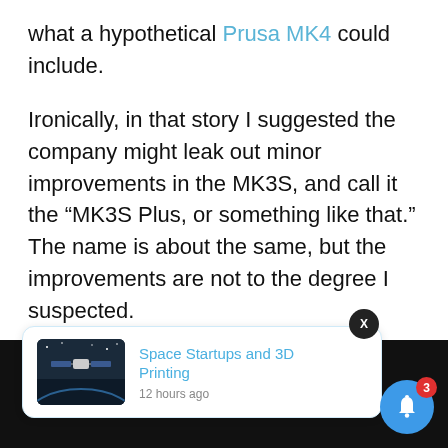what a hypothetical Prusa MK4 could include.
Ironically, in that story I suggested the company might leak out minor improvements in the MK3S, and call it the “MK3S Plus, or something like that.” The name is about the same, but the improvements are not to the degree I suspected.
ADVERTISEMENT
[Figure (other): Notification card with space satellite image, title 'Space Startups and 3D Printing', timestamp '12 hours ago', close button X, and blue bell icon with badge showing 3]